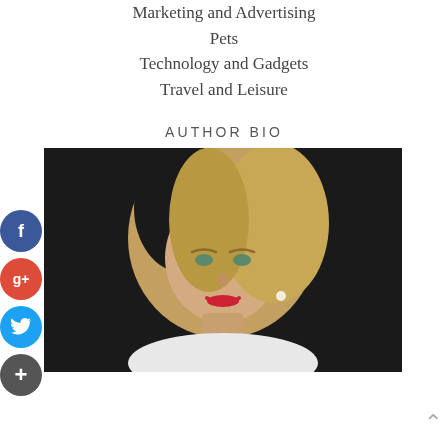Marketing and Advertising
Pets
Technology and Gadgets
Travel and Leisure
AUTHOR BIO
[Figure (photo): Professional headshot of a middle-aged blonde woman smiling, wearing a white top, against a dark background.]